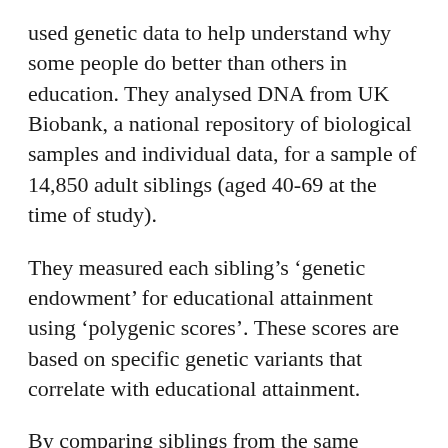used genetic data to help understand why some people do better than others in education. They analysed DNA from UK Biobank, a national repository of biological samples and individual data, for a sample of 14,850 adult siblings (aged 40-69 at the time of study).
They measured each sibling's 'genetic endowment' for educational attainment using 'polygenic scores'. These scores are based on specific genetic variants that correlate with educational attainment.
By comparing siblings from the same family, the researchers were able to cancel out the effects of factors like parental income and social class on children's educational attainment. (It would be much more difficult to disentangle these wealth and class-derived influences from other non-genetic factors